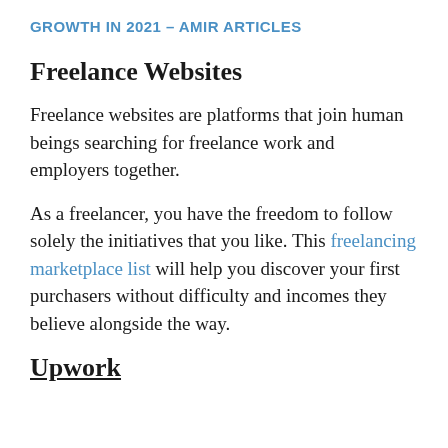GROWTH IN 2021 – AMIR ARTICLES
Freelance Websites
Freelance websites are platforms that join human beings searching for freelance work and employers together.
As a freelancer, you have the freedom to follow solely the initiatives that you like. This freelancing marketplace list will help you discover your first purchasers without difficulty and incomes they believe alongside the way.
Upwork